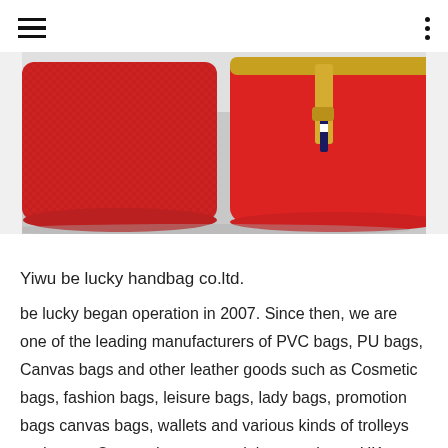[Figure (photo): Two red cosmetic/handbags with gold zipper on a light grey background. One bag has a textured surface, the other has a smooth surface with a navy and white stripe on the zipper pull.]
Yiwu be lucky handbag co.ltd.
be lucky began operation in 2007. Since then, we are one of the leading manufacturers of PVC bags, PU bags, Canvas bags and other leather goods such as Cosmetic bags, fashion bags, leisure bags, lady bags, promotion bags canvas bags, wallets and various kinds of trolleys and more. Our products are mainly exporting to UK, Spain, Australia, Holland, America, Germany, Korea and with over 20